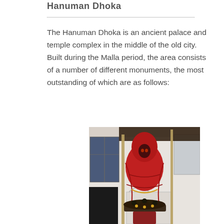Hanuman Dhoka
The Hanuman Dhoka is an ancient palace and temple complex in the middle of the old city. Built during the Malla period, the area consists of a number of different monuments, the most outstanding of which are as follows:
[Figure (photo): A red-robed statue of Hanuman (monkey god) covered in a red cloak, standing on a pedestal decorated with offerings and garlands, in front of a white classical building with blue shuttered windows. Bamboo poles are visible on either side.]